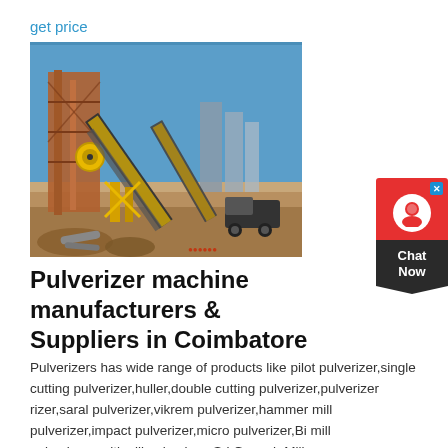get price
[Figure (photo): Outdoor industrial pulverizer/crushing plant machinery with yellow and rust-colored steel structures, conveyor belts, silos, and heavy equipment on a dirt ground under a clear blue sky.]
Pulverizer machine manufacturers & Suppliers in Coimbatore
Pulverizers has wide range of products like pilot pulverizer,single cutting pulverizer,huller,double cutting pulverizer,pulverizer rizer,saral pulverizer,vikrem pulverizer,hammer mill pulverizer,impact pulverizer,micro pulverizer,Bi mill pulverizer,multi mill pulverizer. Sri Ganesh Mill